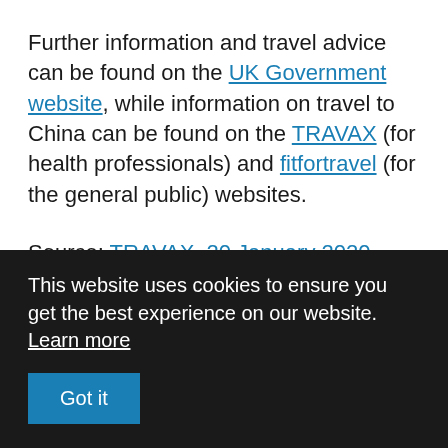Further information and travel advice can be found on the UK Government website, while information on travel to China can be found on the TRAVAX (for health professionals) and fitfortravel (for the general public) websites.
Source: TRAVAX, 20 January 2020
This website uses cookies to ensure you get the best experience on our website. Learn more